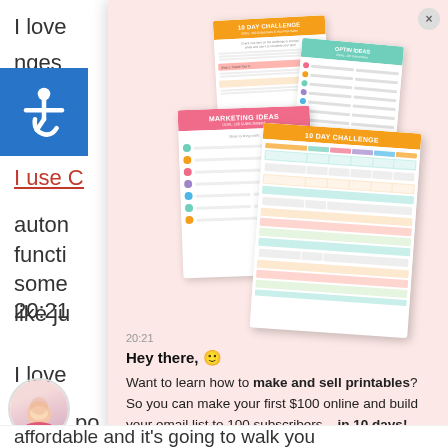I love
nges
[Figure (illustration): Accessibility wheelchair icon on blue background]
I use C
auton
functi
some
like ju
[Figure (screenshot): A popup overlay on a pink/blush background showing a stack of colorful printable worksheets: '10 Day Challenge', 'Optin Ideas', 'Marketing Ideas', and '10 Day Challenge' table. Below shows a chat message: '20:21 Hey there, [emoji] Want to learn how to make and sell printables? So you can make your first $100 online and build your email list to 100 subscribers – in 10 days!']
20:21
Hey there, 😊
Want to learn how to make and sell printables? So you can make your first $100 online and build your email list to 100 subscribers – in 10 days!
affordable and it's going to walk you